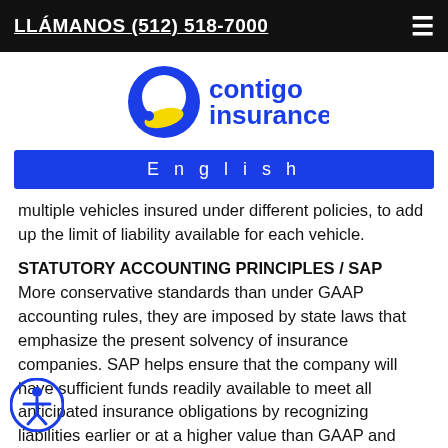LLÁMANOS (512) 518-7000
[Figure (logo): Contigo Insurance logo with blue and yellow circular emblem and blue text reading 'contigo insurance']
English
multiple vehicles insured under different policies, to add up the limit of liability available for each vehicle.
STATUTORY ACCOUNTING PRINCIPLES / SAP
More conservative standards than under GAAP accounting rules, they are imposed by state laws that emphasize the present solvency of insurance companies. SAP helps ensure that the company will have sufficient funds readily available to meet all anticipated insurance obligations by recognizing liabilities earlier or at a higher value than GAAP and assets later or at a lower value. For example, SAP requires that selling expenses be recorded